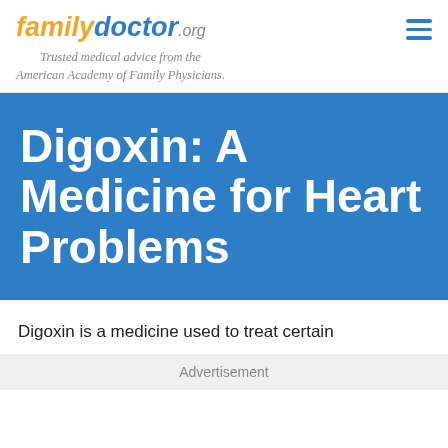familydoctor.org — Trusted medical advice from the American Academy of Family Physicians.
Digoxin: A Medicine for Heart Problems
Digoxin is a medicine used to treat certain
Advertisement